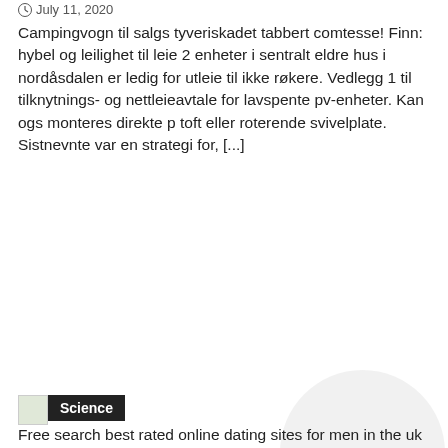July 11, 2020
Campingvogn til salgs tyveriskadet tabbert comtesse! Finn: hybel og leilighet til leie 2 enheter i sentralt eldre hus i nordåsdalen er ledig for utleie til ikke røkere. Vedlegg 1 til tilknytnings- og nettleieavtale for lavspente pv-enheter. Kan ogs monteres direkte p toft eller roterende svivelplate. Sistnevnte var en strategi for, [...]
[Figure (illustration): Small thumbnail image with a dark Science label badge overlay, and a large light grey circle in the background]
Free search best rated online dating sites for men in the uk